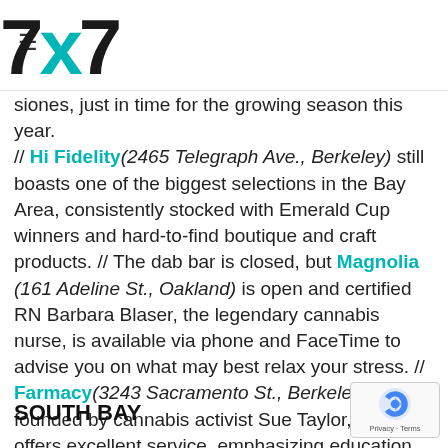7x7
siones, just in time for the growing season this year. // Hi Fidelity (2465 Telegraph Ave., Berkeley) still boasts one of the biggest selections in the Bay Area, consistently stocked with Emerald Cup winners and hard-to-find boutique and craft products. // The dab bar is closed, but Magnolia (161 Adeline St., Oakland) is open and certified RN Barbara Blaser, the legendary cannabis nurse, is available via phone and FaceTime to advise you on what may best relax your stress. // Farmacy (3243 Sacramento St., Berkeley), founded by cannabis activist Sue Taylor, also offers excellent service, emphasizing education and a welcoming atmosphere where there's no wrong questions.
SOUTH BAY